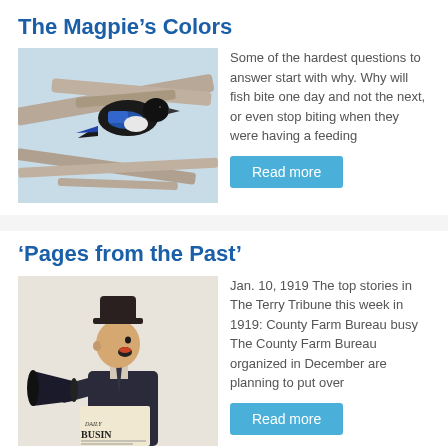The Magpie’s Colors
[Figure (photo): A magpie bird with blue and black feathers perched among tree branches]
Some of the hardest questions to answer start with why. Why will fish bite one day and not the next, or even stop biting when they were having a feeding
Read more
‘Pages from the Past’
[Figure (photo): A boy in a suit and hat holding a megaphone and a newspaper, shouting]
Jan. 10, 1919 The top stories in The Terry Tribune this week in 1919: County Farm Bureau busy The County Farm Bureau organized in December are planning to put over
Read more